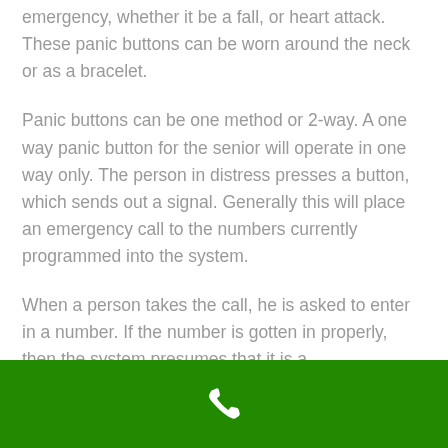emergency, whether it be a fall, or heart attack. These panic buttons can be worn around the neck or as a bracelet.
Panic buttons can be one method or 2-way. A one way panic button for the senior will operate in one way only. The person in distress presses a button, which sends out a signal. Generally this will place an emergency call to the numbers currently programmed into the system.
When a person takes the call, he is asked to enter in a number. If the number is gotten in properly, then the system presumes that it is a
[Figure (other): Green bar at the bottom of the page with a white telephone/phone handset icon centered within it.]